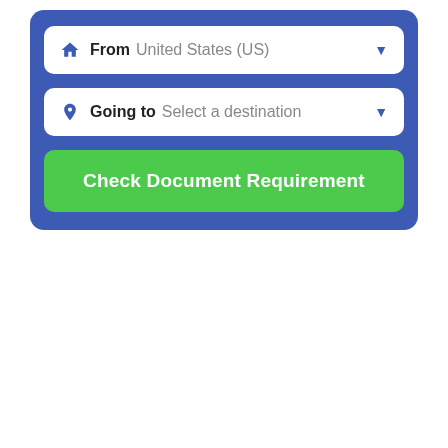[Figure (screenshot): Travel document requirement checker UI widget with a blue background panel containing two dropdown selectors ('From: United States (US)' and 'Going to: Select a destination') and a green 'Check Document Requirement' button.]